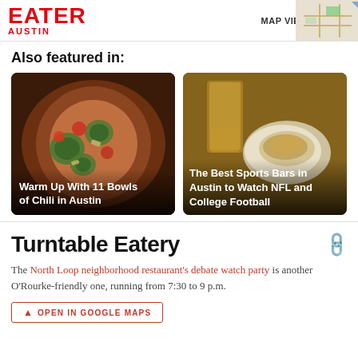EATER AUSTIN
Also featured in:
[Figure (photo): Close-up of a pizza with jalapeños, red onions, and toppings with text overlay: Warm Up With 11 Bowls of Chili in Austin]
[Figure (photo): Beer glass and nachos/chips dish on wooden table with text overlay: The Best Sports Bars in Austin to Watch NFL and College Football]
Turntable Eatery
The North Loop neighborhood restaurant's debate watch party is another O'Rourke-friendly one, running from 7:30 to 9 p.m.
OPEN IN GOOGLE MAPS